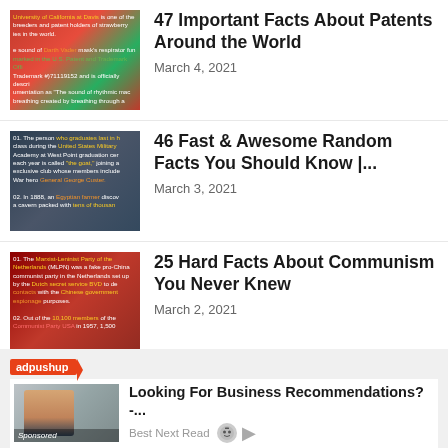[Figure (photo): Thumbnail image of strawberries with text overlay about University of California at Davis patents]
47 Important Facts About Patents Around the World
March 4, 2021
[Figure (photo): Thumbnail image with dark background and text about United States Military Academy graduation facts]
46 Fast & Awesome Random Facts You Should Know |...
March 3, 2021
[Figure (photo): Thumbnail image with red background and text about communist party facts]
25 Hard Facts About Communism You Never Knew
March 2, 2021
[Figure (advertisement): Ad from adpushup: Looking For Business Recommendations? - Best Next Read with person on phone image]
Looking For Business Recommendations? -...
Best Next Read